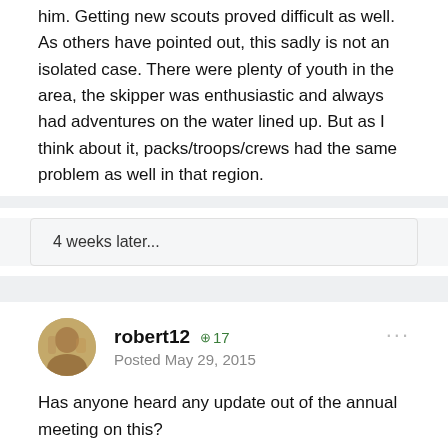him. Getting new scouts proved difficult as well. As others have pointed out, this sadly is not an isolated case. There were plenty of youth in the area, the skipper was enthusiastic and always had adventures on the water lined up. But as I think about it, packs/troops/crews had the same problem as well in that region.
4 weeks later...
robert12  +17
Posted May 29, 2015
Has anyone heard any update out of the annual meeting on this?
robert12  +17
Posted June 4, 2015
According to THIS the resolution that proposed splitting Sea...